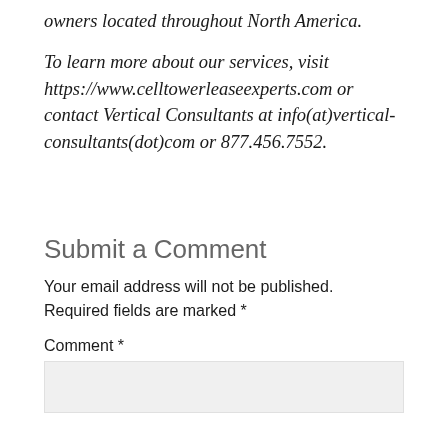owners located throughout North America.
To learn more about our services, visit https://www.celltowerleaseexperts.com or contact Vertical Consultants at info(at)vertical-consultants(dot)com or 877.456.7552.
Submit a Comment
Your email address will not be published. Required fields are marked *
Comment *